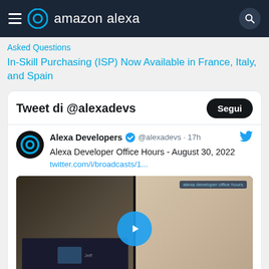amazon alexa
Asked Questions
In-Skill Purchasing (ISP) Now Available in France, Italy, and Spain
[Figure (screenshot): Twitter widget showing @alexadevs tweet about Alexa Developer Office Hours August 30 2022 with a video thumbnail of two people in a split-screen video call]
Tweet di @alexadevs — Segui — Alexa Developers @alexadevs · 17h — Alexa Developer Office Hours - August 30, 2022 — twitter.com/i/broadcasts/1...